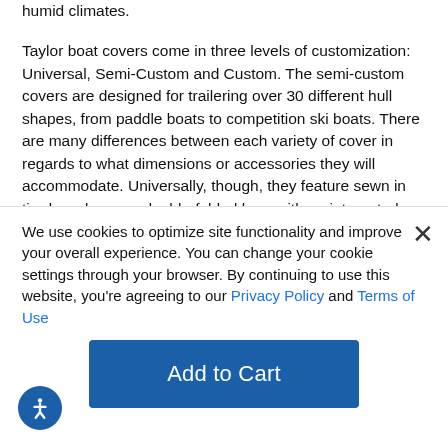humid climates.
Taylor boat covers come in three levels of customization: Universal, Semi-Custom and Custom. The semi-custom covers are designed for trailering over 30 different hull shapes, from paddle boats to competition ski boats. There are many differences between each variety of cover in regards to what dimensions or accessories they will accommodate. Universally, though, they feature sewn in tie-down loops, a double-folded hem with an integrated shock-cord and 4-ply seams. These boat covers feature Gore® Tenara® thread in their seams which will not stain, mold, mildew or discolor -- it will outlast the material it is sewn into. Please note that these covers generally aren't
We use cookies to optimize site functionality and improve your overall experience. You can change your cookie settings through your browser. By continuing to use this website, you're agreeing to our Privacy Policy and Terms of Use
Add to Cart